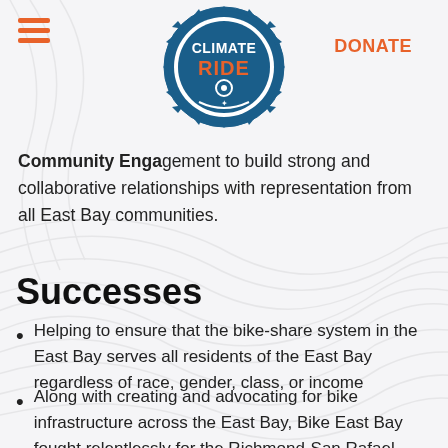DONATE
[Figure (logo): Climate Ride logo — circular gear-shaped badge with 'CLIMATE RIDE' text in blue and orange]
Community Engagement to build strong and collaborative relationships with representation from all East Bay communities.
Successes
Helping to ensure that the bike-share system in the East Bay serves all residents of the East Bay regardless of race, gender, class, or income
Along with creating and advocating for bike infrastructure across the East Bay, Bike East Bay fought relentlessly for the Richmond-San Rafael Bridge to have a bike and